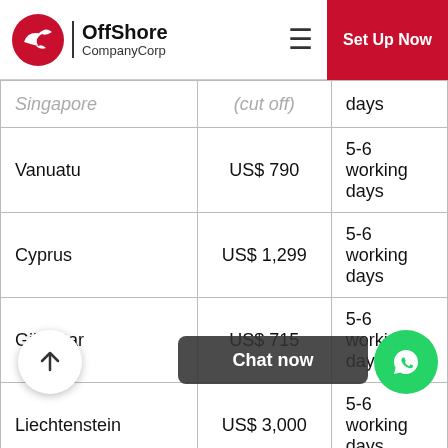OffShore CompanyCorp | Set Up Now
| Country | Price | Timeline |
| --- | --- | --- |
| Singapore | (cut off) | days |
| Vanuatu | US$ 790 | 5-6 working days |
| Cyprus | US$ 1,299 | 5-6 working days |
| Gibraltar | US$ 715 | 5-6 working days |
| Liechtenstein | US$ 3,000 | 5-6 working days |
| Luxembourg | US$ 3,000 | 5-6 working days |
| (cut off) |  | 5-6 working |